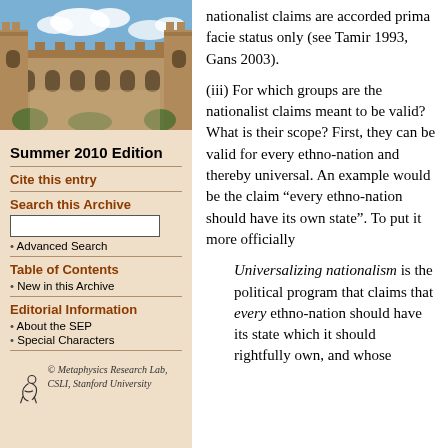[Figure (photo): Stone university building with Gothic architecture under a blue sky with clouds]
Summer 2010 Edition
Cite this entry
Search this Archive
Advanced Search
Table of Contents
New in this Archive
Editorial Information
About the SEP
Special Characters
[Figure (logo): Metaphysics Research Lab, CSLI, Stanford University logo]
nationalist claims are accorded prima facie status only (see Tamir 1993, Gans 2003).
(iii) For which groups are the nationalist claims meant to be valid? What is their scope? First, they can be valid for every ethno-nation and thereby universal. An example would be the claim “every ethno-nation should have its own state”. To put it more officially
Universalizing nationalism is the political program that claims that every ethno-nation should have its state which it should rightfully own, and whose